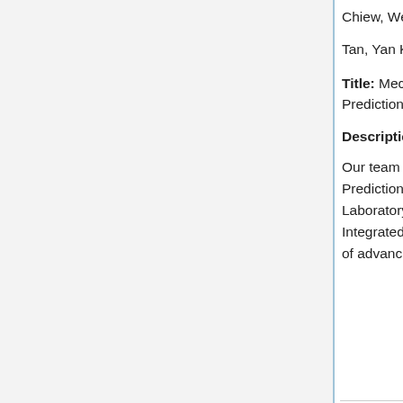Chiew, Wen Cheen
Tan, Yan Kai
Title: Mechanisms of Action (MoA) Prediction
Description:
Our team chose to participate in a Kaggle research challenge "Mechanisms of Action (MoA) Prediction". This competition is a project within the Broad Institute of MIT and Harvard, the Laboratory for Innovation Science at Harvard (LISH), and the NIH Common Funds Library of Integrated Network-Based Cellular Signatures (LINCS), present this challenge with the goal of advancing drug development through improvements to MoA prediction algorithms.